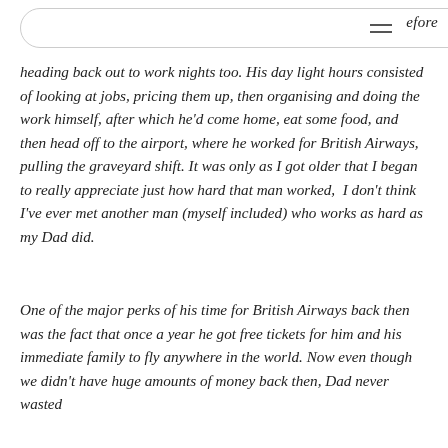heading back out to work nights too. His day light hours consisted of looking at jobs, pricing them up, then organising and doing the work himself, after which he'd come home, eat some food, and then head off to the airport, where he worked for British Airways, pulling the graveyard shift. It was only as I got older that I began to really appreciate just how hard that man worked,  I don't think I've ever met another man (myself included) who works as hard as my Dad did.
One of the major perks of his time for British Airways back then was the fact that once a year he got free tickets for him and his immediate family to fly anywhere in the world. Now even though we didn't have huge amounts of money back then, Dad never wasted